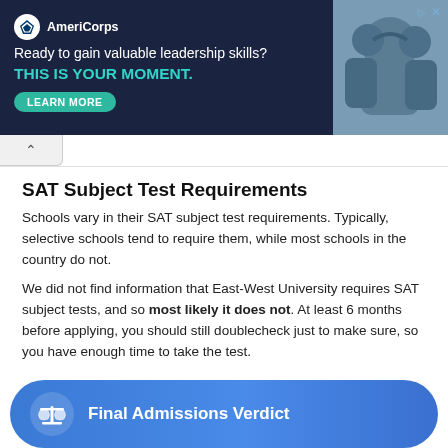[Figure (other): AmeriCorps advertisement banner with dark navy background, logo, headline 'Ready to gain valuable leadership skills? THIS IS YOUR MOMENT.', LEARN MORE button, and photo of students]
SAT Subject Test Requirements
Schools vary in their SAT subject test requirements. Typically, selective schools tend to require them, while most schools in the country do not.
We did not find information that East-West University requires SAT subject tests, and so most likely it does not. At least 6 months before applying, you should still doublecheck just to make sure, so you have enough time to take the test.
[Figure (infographic): Final Admissions Verdict blue rounded button with scale/balance emoji icon]
Lightly Competitive